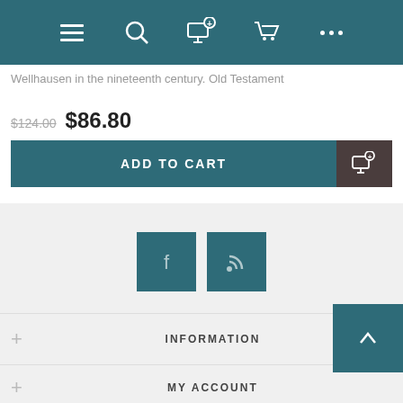[Figure (screenshot): Top navigation bar with menu, search, wishlist, cart, and more icons on teal background]
Wellhausen in the nineteenth century. Old Testament
$124.00  $86.80
ADD TO CART
[Figure (other): Social media icons: Facebook and RSS feed buttons on teal background]
INFORMATION
MY ACCOUNT